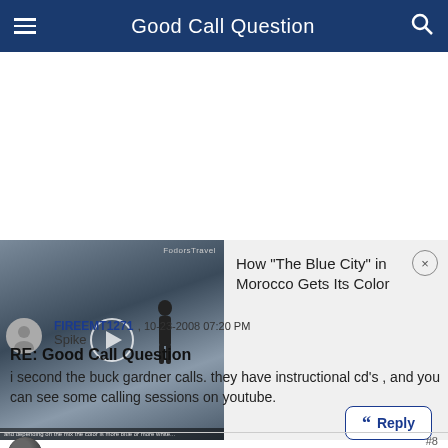Good Call Question
[Figure (screenshot): Video thumbnail showing a blue-toned street scene with a person walking, play button overlay, FodorsTravel watermark, and caption bar. Adjacent panel shows title: How "The Blue City" in Morocco Gets Its Color, with a close button.]
FIREEMT1271 , 10-23-2008 07:20 PM
Spike
RE: Good Call Question
i second the buck gardner calls. they have instructional cd's , and you can see some calling sessions on youtube.
#8